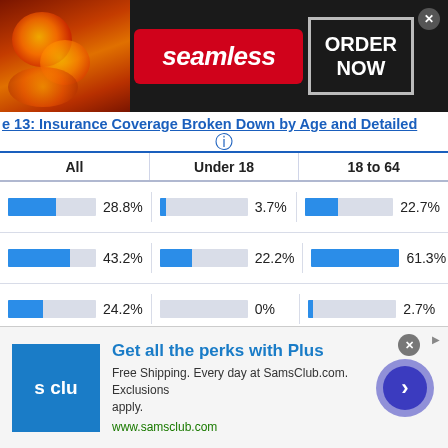[Figure (infographic): Seamless food delivery advertisement banner with pizza image, red Seamless logo pill, and ORDER NOW box on dark background]
e 13: Insurance Coverage Broken Down by Age and Detailed...
| All | Under 18 | 18 to 64 |
| --- | --- | --- |
| 28.8% | 3.7% | 22.7% |
| 43.2% | 22.2% | 61.3% |
| 24.2% | 0% | 2.7% |
| 8.3% | 0% | 0% |
| 19.7% | 55.6% | 14.7% |
[Figure (infographic): Sam's Club advertisement: Get all the perks with Plus. Free Shipping. Every day at SamsClub.com. Exclusions apply. www.samsclub.com]